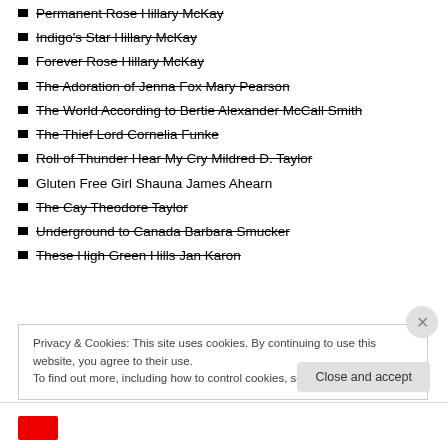Permanent Rose Hillary McKay
Indigo's Star Hillary McKay
Forever Rose Hillary McKay
The Adoration of Jenna Fox Mary Pearson
The World According to Bertie Alexander McCall Smith
The Thief Lord Cornelia Funke
Roll of Thunder Hear My Cry Mildred D. Taylor
Gluten Free Girl Shauna James Ahearn
The Cay Theodore Taylor
Underground to Canada Barbara Smucker
These High Green Hills Jan Karon
Privacy & Cookies: This site uses cookies. By continuing to use this website, you agree to their use. To find out more, including how to control cookies, see here: Cookie Policy
Close and accept